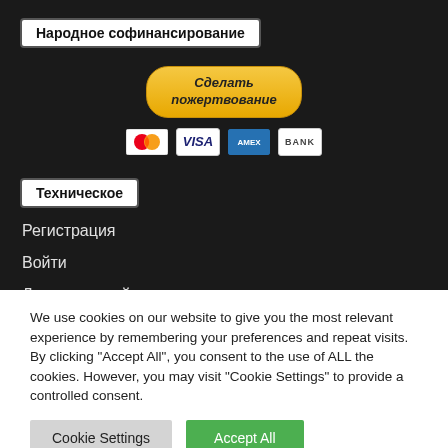Народное софинансирование
[Figure (other): PayPal donate button labeled 'Сделать пожертвование' with payment icons: Mastercard, Visa, American Express, Bank]
Техническое
Регистрация
Войти
Лента записей
We use cookies on our website to give you the most relevant experience by remembering your preferences and repeat visits. By clicking "Accept All", you consent to the use of ALL the cookies. However, you may visit "Cookie Settings" to provide a controlled consent.
Cookie Settings | Accept All